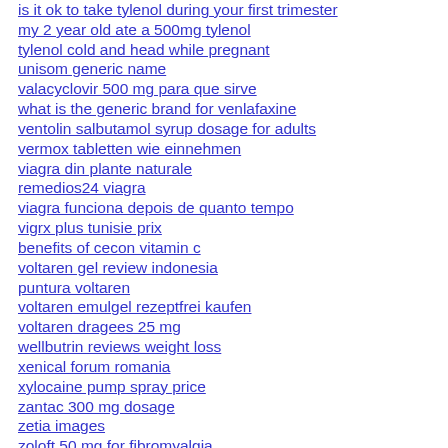is it ok to take tylenol during your first trimester
my 2 year old ate a 500mg tylenol
tylenol cold and head while pregnant
unisom generic name
valacyclovir 500 mg para que sirve
what is the generic brand for venlafaxine
ventolin salbutamol syrup dosage for adults
vermox tabletten wie einnehmen
viagra din plante naturale
remedios24 viagra
viagra funciona depois de quanto tempo
vigrx plus tunisie prix
benefits of cecon vitamin c
voltaren gel review indonesia
puntura voltaren
voltaren emulgel rezeptfrei kaufen
voltaren dragees 25 mg
wellbutrin reviews weight loss
xenical forum romania
xylocaine pump spray price
zantac 300 mg dosage
zetia images
zoloft 50 mg for fibromyalgia
zovirax acyclovir cream reviews
zyrtec nedir niin kullanlr